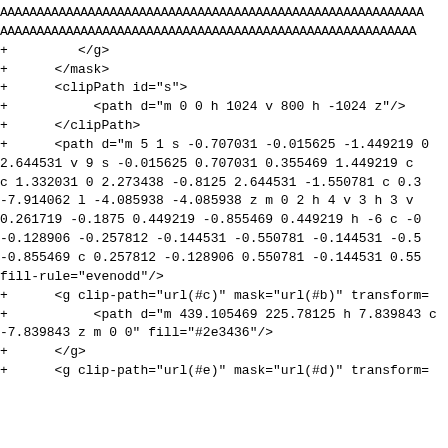AAAAAAAAAAAAAAAAAAAAAAAAAAAAAAAAAAAAAAAAAAAAAAAAAAAAAAA
AAAAAAAAAAAAAAAAAAAAAAAAAAAAAAAAAAAAAAAAAAAAAAAAAAAAAAAAA
+         </g>
+      </mask>
+      <clipPath id="s">
+           <path d="m 0 0 h 1024 v 800 h -1024 z"/>
+      </clipPath>
+      <path d="m 5 1 s -0.707031 -0.015625 -1.449219 0
2.644531 v 9 s -0.015625 0.707031 0.355469 1.449219 c
c 1.332031 0 2.273438 -0.8125 2.644531 -1.550781 c 0.3
-7.914062 l -4.085938 -4.085938 z m 0 2 h 4 v 3 h 3 v
0.261719 -0.1875 0.449219 -0.855469 0.449219 h -6 c -0
-0.128906 -0.257812 -0.144531 -0.550781 -0.144531 -0.5
-0.855469 c 0.257812 -0.128906 0.550781 -0.144531 0.55
fill-rule="evenodd"/>
+      <g clip-path="url(#c)" mask="url(#b)" transform=
+           <path d="m 439.105469 225.78125 h 7.839843 c
-7.839843 z m 0 0" fill="#2e3436"/>
+      </g>
+      <g clip-path="url(#e)" mask="url(#d)" transform=